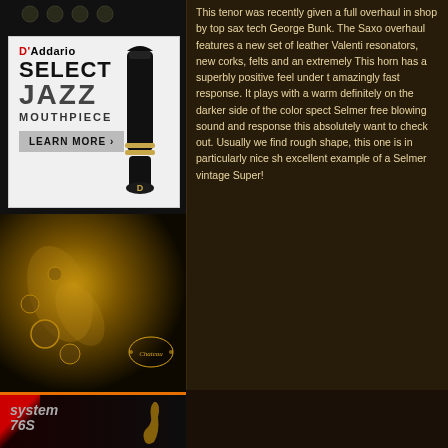[Figure (photo): Top strip on left column with dark background]
[Figure (illustration): D'Addario Select Jazz Mouthpiece advertisement with black mouthpiece image and Learn More button]
[Figure (photo): Close-up photo of a brass saxophone with Chateau logo]
[Figure (photo): System 76S advertisement with red diagonal stripe and saxophone silhouette]
This tenor was recently given a full overhaul in shop by top sax tech George Bunk. The Sax overhaul features a new set of leather Valenti resonators, new corks, felts and an extremely This horn has a superbly positive feel under t amazingly fast response. It plays with a warm definitely on the darker side of the color spect Selmer free blowing sound and response this absolutely want to check out. Usually we find rough shape, this one is in particularly nice sh excellent example of a Selmer vintage Super!